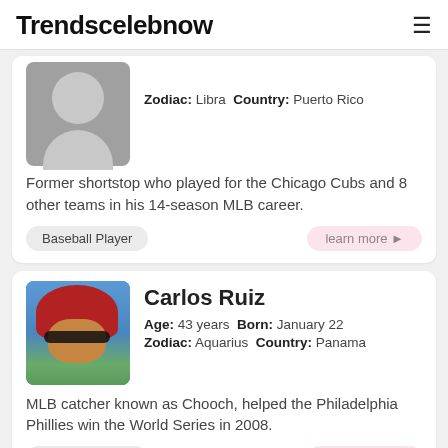Trendscelebnow
Zodiac: Libra Country: Puerto Rico
Former shortstop who played for the Chicago Cubs and 8 other teams in his 14-season MLB career.
Baseball Player
learn more ➤
Carlos Ruiz
Age: 43 years Born: January 22
Zodiac: Aquarius Country: Panama
MLB catcher known as Chooch, helped the Philadelphia Phillies win the World Series in 2008.
Baseball Player
learn more ➤